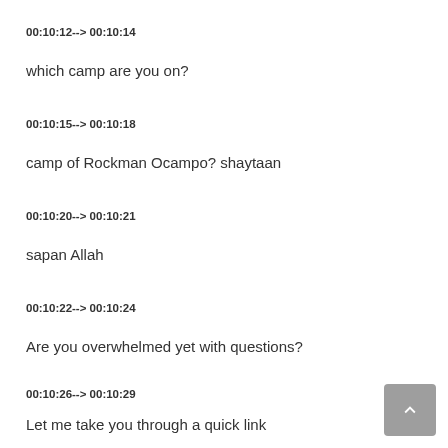00:10:12--> 00:10:14
which camp are you on?
00:10:15--> 00:10:18
camp of Rockman Ocampo? shaytaan
00:10:20--> 00:10:21
sapan Allah
00:10:22--> 00:10:24
Are you overwhelmed yet with questions?
00:10:26--> 00:10:29
Let me take you through a quick link